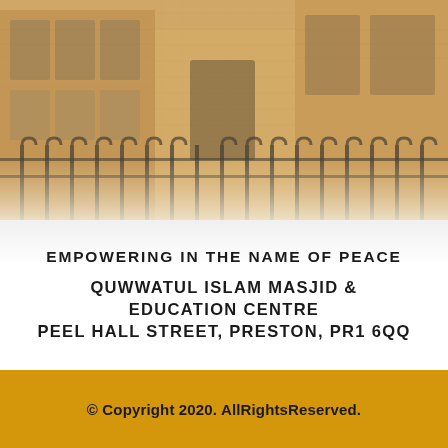[Figure (photo): Exterior photograph of Quwwatul Islam Masjid & Education Centre building showing brick facade with arched metal fence/gate in front, warm golden-toned image]
EMPOWERING IN THE NAME OF PEACE
QUWWATUL ISLAM MASJID & EDUCATION CENTRE
PEEL HALL STREET, PRESTON, PR1 6QQ
© Copyright 2020. AllRightsReserved.